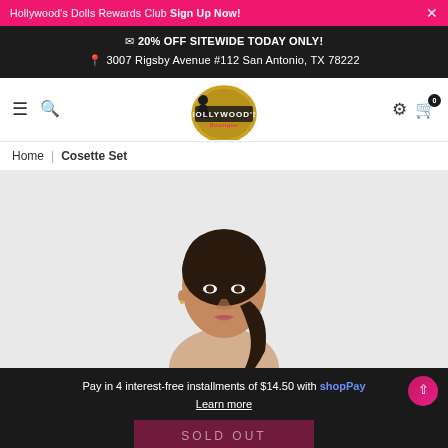Hollywood's Dolls Rewards Club Sign Up Now!
20% OFF SITEWIDE TODAY ONLY!
3007 Rigsby Avenue #112 San Antonio, TX 78222
[Figure (logo): Hollywood's Boutique circular gold and black logo with silhouette figure]
Home | Cosette Set
[Figure (photo): Model with dark hair pulled back, light background, product photo for Cosette Set]
Pay in 4 interest-free installments of $14.50 with shopPay Learn more
SOLD OUT